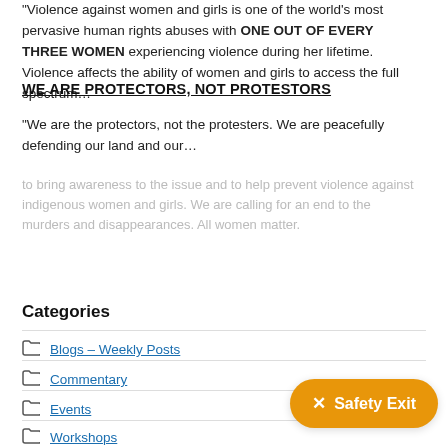"Violence against women and girls is one of the world's most pervasive human rights abuses with ONE OUT OF EVERY THREE WOMEN experiencing violence during her lifetime. Violence affects the ability of women and girls to access the full spectrum…"
WE ARE PROTECTORS, NOT PROTESTORS
"We are the protectors, not the protesters. We are peacefully defending our land and our…"
[blurred/redacted text]
Search
Categories
Blogs – Weekly Posts
Commentary
Events
Workshops
✕ Safety Exit